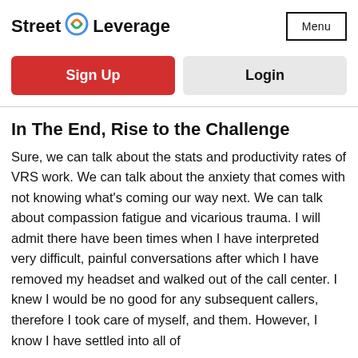Street Leverage  Menu
Sign Up
Login
In The End, Rise to the Challenge
Sure, we can talk about the stats and productivity rates of VRS work. We can talk about the anxiety that comes with not knowing what's coming our way next. We can talk about compassion fatigue and vicarious trauma. I will admit there have been times when I have interpreted very difficult, painful conversations after which I have removed my headset and walked out of the call center. I knew I would be no good for any subsequent callers, therefore I took care of myself, and them. However, I know I have settled into all of